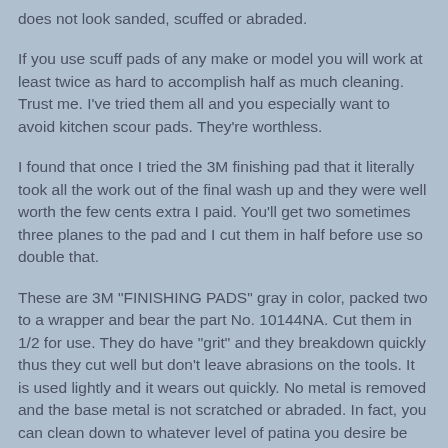does not look sanded, scuffed or abraded.
If you use scuff pads of any make or model you will work at least twice as hard to accomplish half as much cleaning. Trust me. I've tried them all and you especially want to avoid kitchen scour pads. They're worthless.
I found that once I tried the 3M finishing pad that it literally took all the work out of the final wash up and they were well worth the few cents extra I paid. You'll get two sometimes three planes to the pad and I cut them in half before use so double that.
These are 3M "FINISHING PADS" gray in color, packed two to a wrapper and bear the part No. 10144NA. Cut them in 1/2 for use. They do have "grit" and they breakdown quickly thus they cut well but don't leave abrasions on the tools. It is used lightly and it wears out quickly. No metal is removed and the base metal is not scratched or abraded. In fact, you can clean down to whatever level of patina you desire be left on the tool. This is a subjective call on your part. How clean do you want it?